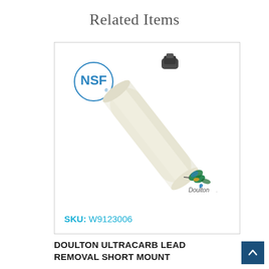Related Items
[Figure (photo): Product photo of Doulton UltraCarb Lead Removal Short Mount water filter candle with NSF certification badge and Doulton bird logo, with SKU W9123006 shown at bottom left of card]
SKU: W9123006
DOULTON ULTRACARB LEAD REMOVAL SHORT MOUNT